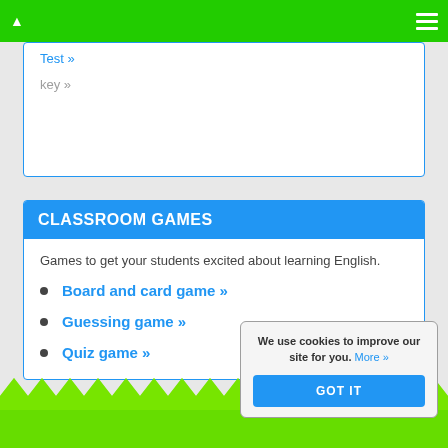▲  ☰
Test »
key »
CLASSROOM GAMES
Games to get your students excited about learning English.
Board and card game »
Guessing game »
Quiz game »
We use cookies to improve our site for you. More »
GOT IT